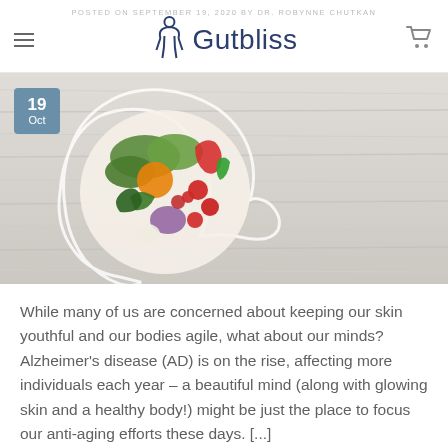POSTED ON SEPTEMBER 19, 2020 BY DR. ROBYNNE CHUTKAN
[Figure (logo): Gutbliss logo with stylized figure and text]
[Figure (photo): Hero image: human head silhouette with vegetables arranged as brain on wooden background, date badge showing 19 Oct]
While many of us are concerned about keeping our skin youthful and our bodies agile, what about our minds? Alzheimer's disease (AD) is on the rise, affecting more individuals each year – a beautiful mind (along with glowing skin and a healthy body!) might be just the place to focus our anti-aging efforts these days. [...]